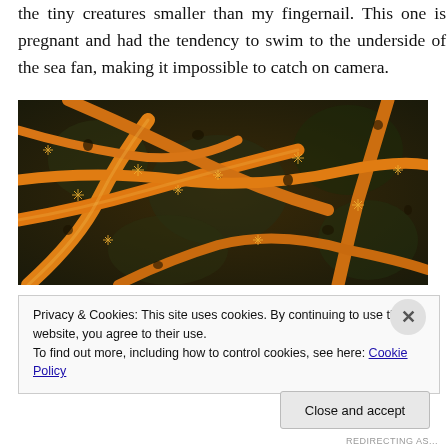the tiny creatures smaller than my fingernail. This one is pregnant and had the tendency to swim to the underside of the sea fan, making it impossible to catch on camera.
[Figure (photo): Close-up macro photograph of a bright orange sea fan coral with intricate branching structure and polyps visible against a dark background.]
Privacy & Cookies: This site uses cookies. By continuing to use this website, you agree to their use.
To find out more, including how to control cookies, see here: Cookie Policy
Close and accept